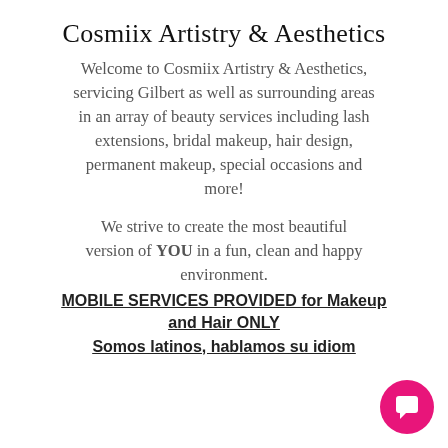Cosmiix Artistry & Aesthetics
Welcome to Cosmiix Artistry & Aesthetics, servicing Gilbert as well as surrounding areas in an array of beauty services including lash extensions, bridal makeup, hair design, permanent makeup, special occasions and more!
We strive to create the most beautiful version of YOU in a fun, clean and happy environment.
MOBILE SERVICES PROVIDED for Makeup and Hair ONLY
Somos latinos, hablamos su idiom